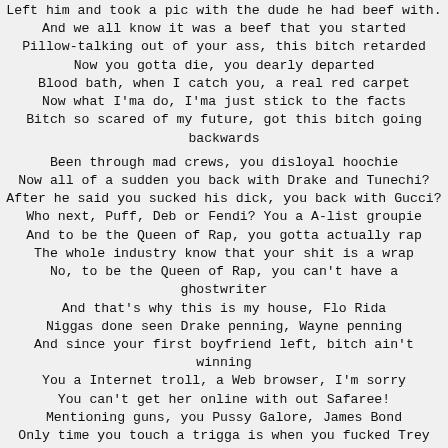Left him and took a pic with the dude he had beef with.
And we all know it was a beef that you started
Pillow-talking out of your ass, this bitch retarded
Now you gotta die, you dearly departed
Blood bath, when I catch you, a real red carpet
Now what I'ma do, I'ma just stick to the facts
Bitch so scared of my future, got this bitch going backwards

Been through mad crews, you disloyal hoochie
Now all of a sudden you back with Drake and Tunechi?
After he said you sucked his dick, you back with Gucci?
Who next, Puff, Deb or Fendi? You a A-list groupie
And to be the Queen of Rap, you gotta actually rap
The whole industry know that your shit is a wrap
No, to be the Queen of Rap, you can't have a ghostwriter
And that's why this is my house, Flo Rida
Niggas done seen Drake penning, Wayne penning
And since your first boyfriend left, bitch ain't winning
You a Internet troll, a Web browser, I'm sorry
You can't get her online with out Safaree!
Mentioning guns, you Pussy Galore, James Bond
Only time you touch a trigga is when you fucked Trey Songz